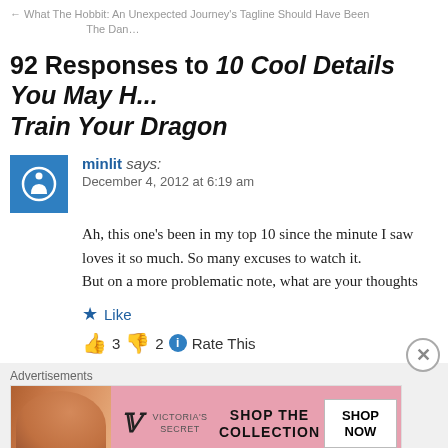← What The Hobbit: An Unexpected Journey's Tagline Should Have Been    The Dan...
92 Responses to 10 Cool Details You May H... Train Your Dragon
minlit says:
December 4, 2012 at 6:19 am
Ah, this one's been in my top 10 since the minute I saw... loves it so much. So many excuses to watch it.
But on a more problematic note, what are your thought...
★ Like
👍 3  👎 2  ℹ Rate This
Advertisements
[Figure (other): Victoria's Secret advertisement banner with model, VS logo, SHOP THE COLLECTION text and SHOP NOW button]